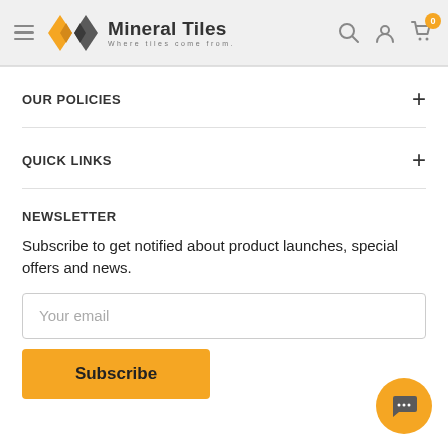[Figure (logo): Mineral Tiles logo with yellow/grey diamond icon and text 'Mineral Tiles – Where tiles come from.']
OUR POLICIES
QUICK LINKS
NEWSLETTER
Subscribe to get notified about product launches, special offers and news.